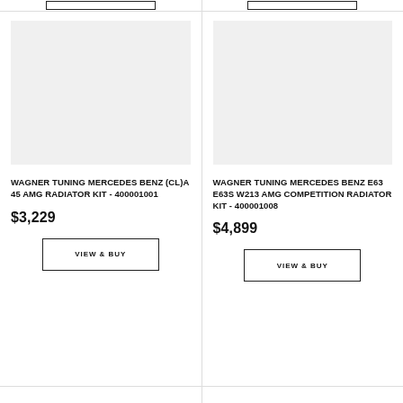[Figure (photo): Product image placeholder for Wagner Tuning Mercedes Benz (CL)A 45 AMG Radiator Kit - light gray background]
WAGNER TUNING MERCEDES BENZ (CL)A 45 AMG RADIATOR KIT - 400001001
$3,229
VIEW & BUY
[Figure (photo): Product image placeholder for Wagner Tuning Mercedes Benz E63 E63S W213 AMG Competition Radiator Kit - light gray background]
WAGNER TUNING MERCEDES BENZ E63 E63S W213 AMG COMPETITION RADIATOR KIT - 400001008
$4,899
VIEW & BUY